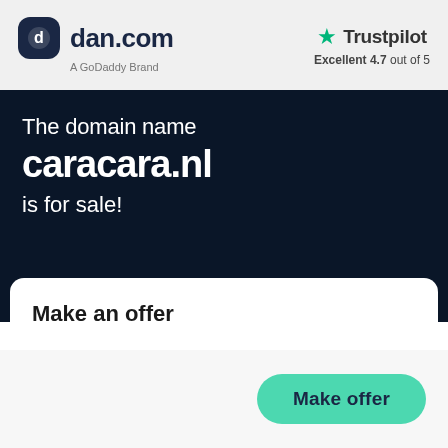[Figure (logo): dan.com logo with dark rounded square icon containing a stylized 'G' symbol, followed by 'dan.com' in bold dark text, and 'A GoDaddy Brand' subtitle below]
[Figure (logo): Trustpilot logo with green star icon and 'Trustpilot' text, with 'Excellent 4.7 out of 5' rating below]
The domain name caracara.nl is for sale!
Make an offer
Make offer